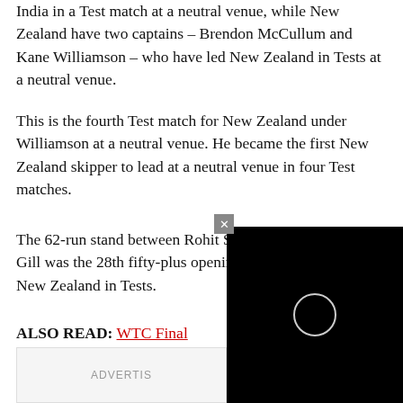India in a Test match at a neutral venue, while New Zealand have two captains – Brendon McCullum and Kane Williamson – who have led New Zealand in Tests at a neutral venue.
This is the fourth Test match for New Zealand under Williamson at a neutral venue. He became the first New Zealand skipper to lead at a neutral venue in four Test matches.
The 62-run stand between Rohit Sharma and Shubman Gill was the 28th fifty-plus opening stand for India against New Zealand in Tests.
ALSO READ: WTC Final 2021: India's First Test At A Neutral Venue Statistics
[Figure (screenshot): Black video player overlay with circular spinner/loader icon and a grey close button]
ADVERTISEMENT